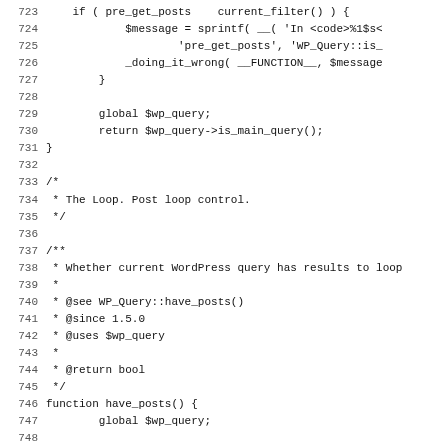Code listing lines 723-755 showing PHP WordPress source code including is_main_query, have_posts, and in_the_loop functions